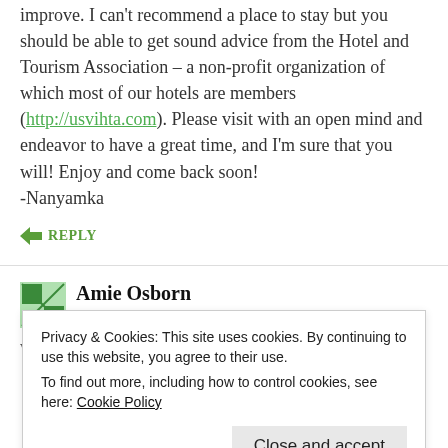improve. I can't recommend a place to stay but you should be able to get sound advice from the Hotel and Tourism Association – a non-profit organization of which most of our hotels are members (http://usvihta.com). Please visit with an open mind and endeavor to have a great time, and I'm sure that you will! Enjoy and come back soon!
-Nanyamka
REPLY
Amie Osborn
MARCH 30, 2016 AT 11:42 PM
Privacy & Cookies: This site uses cookies. By continuing to use this website, you agree to their use.
To find out more, including how to control cookies, see here: Cookie Policy
Close and accept
worked hard to be able to come here. Feeling pretty